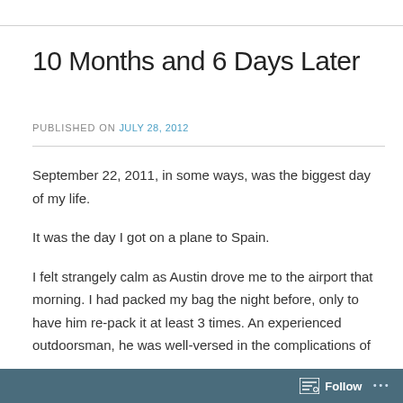10 Months and 6 Days Later
PUBLISHED ON July 28, 2012
September 22, 2011, in some ways, was the biggest day of my life.
It was the day I got on a plane to Spain.
I felt strangely calm as Austin drove me to the airport that morning. I had packed my bag the night before, only to have him re-pack it at least 3 times. An experienced outdoorsman, he was well-versed in the complications of
Follow ...